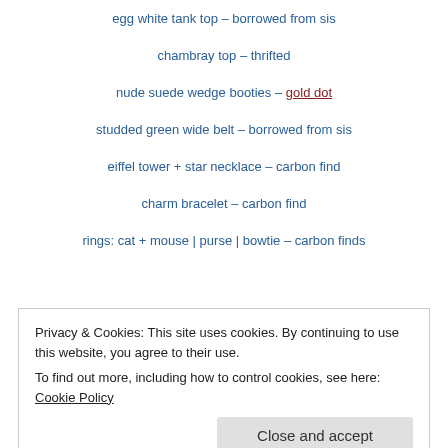egg white tank top – borrowed from sis
chambray top – thrifted
nude suede wedge booties – gold dot
studded green wide belt – borrowed from sis
eiffel tower + star necklace – carbon find
charm bracelet – carbon find
rings: cat + mouse | purse | bowtie – carbon finds
Privacy & Cookies: This site uses cookies. By continuing to use this website, you agree to their use. To find out more, including how to control cookies, see here: Cookie Policy
Close and accept
Tweet